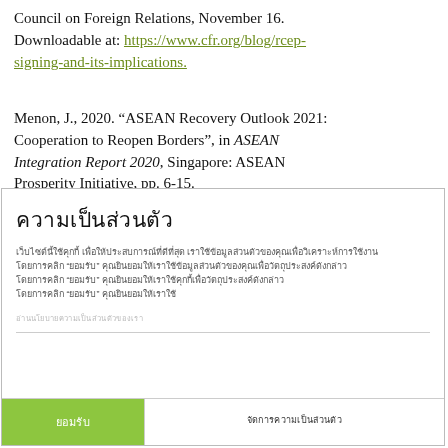Council on Foreign Relations, November 16. Downloadable at: https://www.cfr.org/blog/rcep-signing-and-its-implications.
Menon, J., 2020. “ASEAN Recovery Outlook 2021: Cooperation to Reopen Borders”, in ASEAN Integration Report 2020, Singapore: ASEAN Prosperity Initiative, pp. 6-15.
ความเป็นส่วนตัว
เว็บไซต์นี้ใช้คุกกี้ เพื่อให้ประสบการณ์ที่ดีที่สุด เราใช้ข้อมูลส่วนตัวของคุณเพื่อวิเคราะห์การใช้งาน โดยการคลิก “ยอมรับ” คุณยินยอมให้เราใช้ข้อมูลส่วนตัวของคุณเพื่อวัตถุประสงค์ดังกล่าว
อ่านนโยบายความเป็นส่วนตัวของเรา